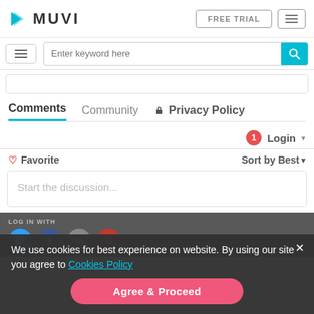[Figure (screenshot): MUVI logo with blue arrow icon and bold MUVI text]
FREE TRIAL
[Figure (screenshot): Hamburger menu icon button]
Enter keyword here
[Figure (screenshot): Search icon button (magnifying glass) on cyan background]
Comments   Community   🔒 Privacy Policy
1  Login ▾
♡ Favorite   Sort by Best ▾
Start the discussion...
LOG IN WITH
We use cookies for best experience on website. By using our site you agree to Cookies Policy
Agree & Proceed